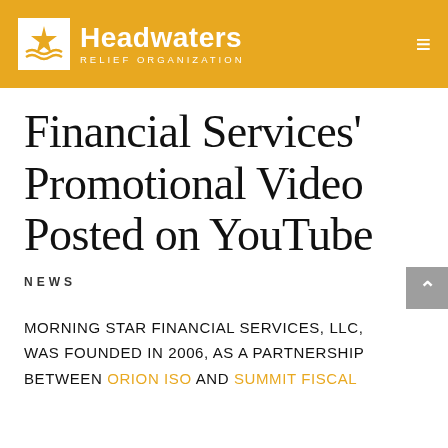[Figure (logo): Headwaters Relief Organization logo with white icon and text on golden/amber background header bar]
Financial Services' Promotional Video Posted on YouTube
NEWS
MORNING STAR FINANCIAL SERVICES, LLC, WAS FOUNDED IN 2006, AS A PARTNERSHIP BETWEEN ORION ISO AND SUMMIT FISCAL